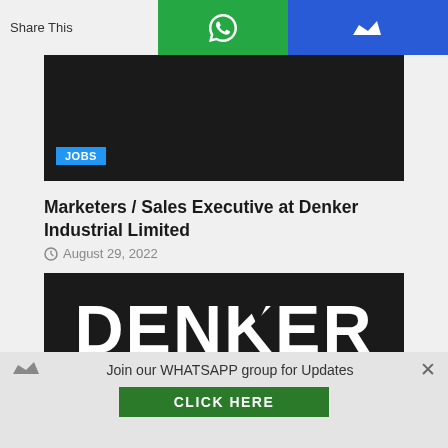Share This
[Figure (illustration): Dark banner with JOBS badge label]
Marketers / Sales Executive at Denker Industrial Limited
August 29, 2022
[Figure (logo): Denker Capital logo — white bold DENKER text with orange CAPITAL text on dark background]
Join our WHATSAPP group for Updates
CLICK HERE